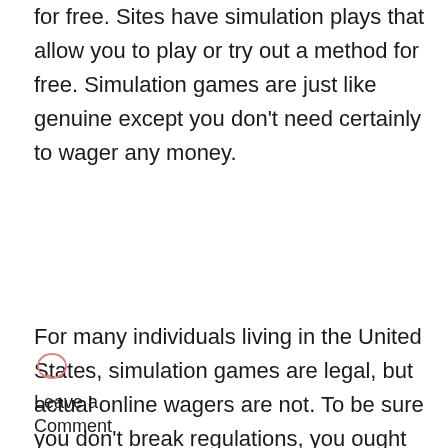for free. Sites have simulation plays that allow you to play or try out a method for free. Simulation games are just like genuine except you don't need certainly to wager any money.
For many individuals living in the United States, simulation games are legal, but actual online wagers are not. To be sure you don't break regulations, you ought to be sure of the local laws about wagers. If you intend to gamble within the comforts of your home and be free to do this anytime of the afternoon, you should look into online
Leave a Comment